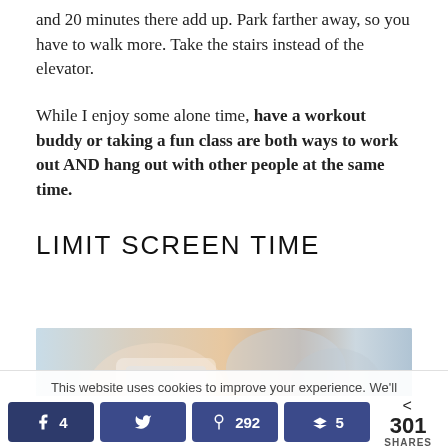and 20 minutes there add up. Park farther away, so you have to walk more. Take the stairs instead of the elevator.
While I enjoy some alone time, have a workout buddy or taking a fun class are both ways to work out AND hang out with other people at the same time.
LIMIT SCREEN TIME
[Figure (photo): Photo of a person holding a smartphone, blurred lifestyle image]
This website uses cookies to improve your experience. We'll assume you're ok with this, but you can opt-out if you wish.
4   292   5   < 301 SHARES